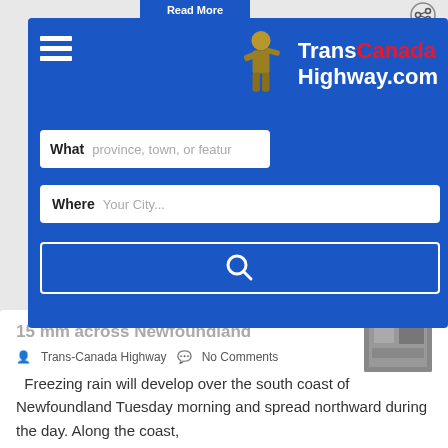[Figure (screenshot): TransCanadaHighway.com website screenshot showing navigation overlay with hamburger menu, logo, search fields for 'What' and 'Where', and a search button, plus an article preview about freezing rain across Newfoundland with Read More button and share icon]
Read More
TransCanada Highway.com
What   province, town, or feature
Where   Your City...
15 mm across Newfoundland
Trans-Canada Highway   No Comments
Freezing rain will develop over the south coast of Newfoundland Tuesday morning and spread northward during the day. Along the coast,
Read More